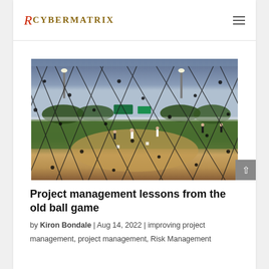CYBERMATRIX
[Figure (photo): A baseball field viewed through a chain-link net/fence, with players on the field, green grass, stadium lights, trees, and a partly cloudy sky in the background.]
Project management lessons from the old ball game
by Kiron Bondale | Aug 14, 2022 | improving project management, project management, Risk Management